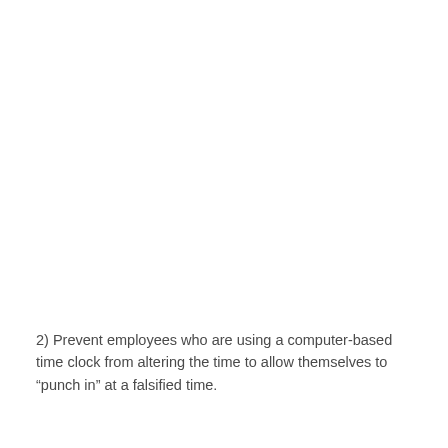2) Prevent employees who are using a computer-based time clock from altering the time to allow themselves to "punch in" at a falsified time.